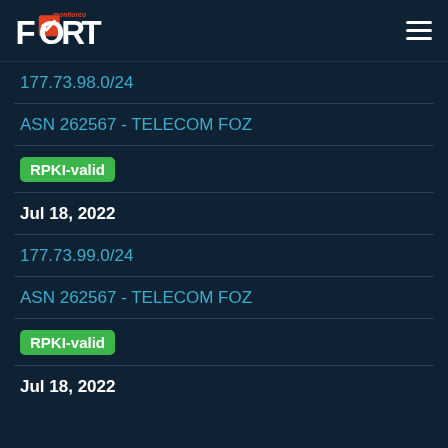FORT monitoreo
177.73.98.0/24
ASN 262567 - TELECOM FOZ
RPKI-valid
Jul 18, 2022
177.73.99.0/24
ASN 262567 - TELECOM FOZ
RPKI-valid
Jul 18, 2022